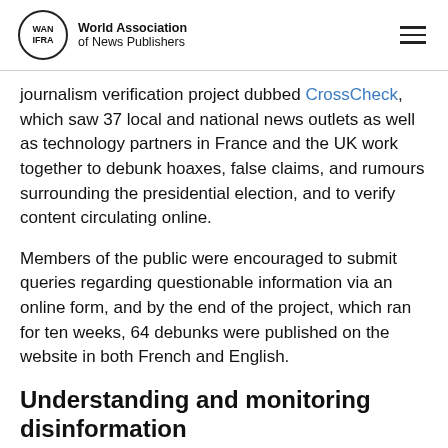World Association of News Publishers
journalism verification project dubbed CrossCheck, which saw 37 local and national news outlets as well as technology partners in France and the UK work together to debunk hoaxes, false claims, and rumours surrounding the presidential election, and to verify content circulating online.
Members of the public were encouraged to submit queries regarding questionable information via an online form, and by the end of the project, which ran for ten weeks, 64 debunks were published on the website in both French and English.
Understanding and monitoring disinformation